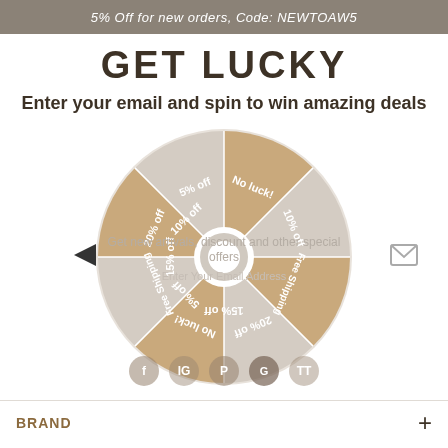5% Off for new orders, Code: NEWTOAW5
GET LUCKY
Enter your email and spin to win amazing deals
[Figure (other): A spin-to-win promotional wheel divided into 8 segments with alternating tan/beige and light gray colors. Segments are labeled: 20% off, 5% off, No luck!, 10% off, Free Shipping, 10% off, No luck!, 5% off, 20% off, 15% off, Free Shipping, 15% off. There is a white center circle and a black arrow pointer on the left side. Social media icons (Facebook, Instagram, Pinterest, TikTok) appear along the bottom of the wheel. An overlay shows 'Get new arrivals, discount and other special offers' and an email input field.]
Get new arrivals, discount and other special offers
Enter Your Email Address
BRAND